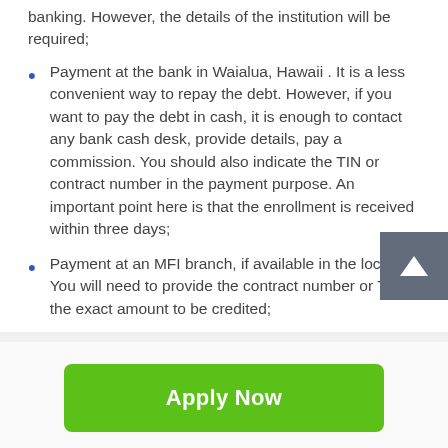banking. However, the details of the institution will be required;
Payment at the bank in Waialua, Hawaii . It is a less convenient way to repay the debt. However, if you want to pay the debt in cash, it is enough to contact any bank cash desk, provide details, pay a commission. You should also indicate the TIN or contract number in the payment purpose. An important point here is that the enrollment is received within three days;
Payment at an MFI branch, if available in the locality. You will need to provide the contract number or TIN the exact amount to be credited;
[Figure (other): Green 'Apply Now' button]
Applying does NOT affect your credit score!
No credit check to apply.